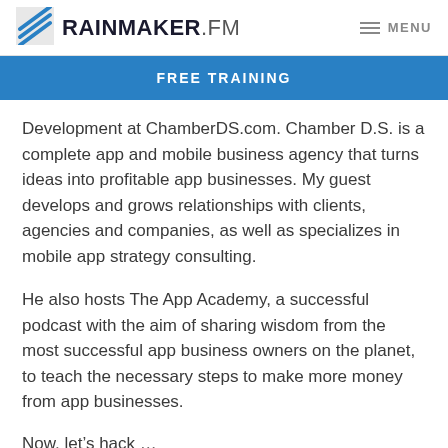RAINMAKER.FM  MENU
FREE TRAINING
Development at ChamberDS.com. Chamber D.S. is a complete app and mobile business agency that turns ideas into profitable app businesses. My guest develops and grows relationships with clients, agencies and companies, as well as specializes in mobile app strategy consulting.
He also hosts The App Academy, a successful podcast with the aim of sharing wisdom from the most successful app business owners on the planet, to teach the necessary steps to make more money from app businesses.
Now, let’s hack …